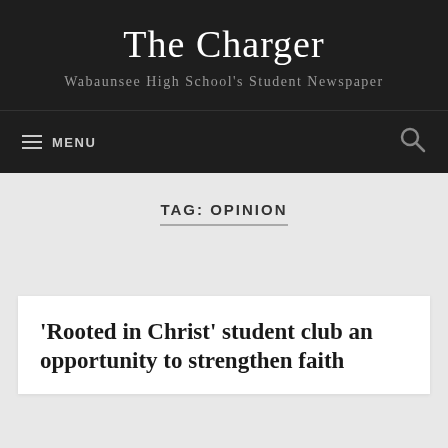The Charger
Wabaunsee High School's Student Newspaper
MENU
TAG: OPINION
'Rooted in Christ' student club an opportunity to strengthen faith